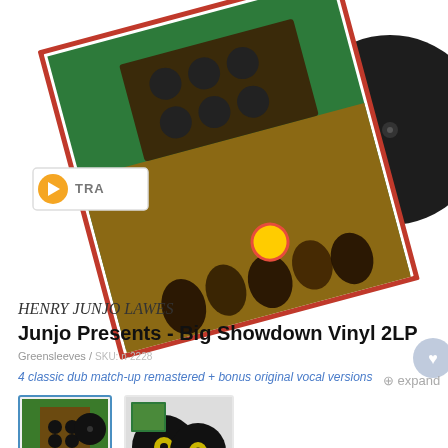[Figure (photo): Product page showing a vinyl record album 'Junjo Presents - Big Showdown Vinyl 2LP' by Henry Junjo Lawes. Top portion shows the album cover art (reggae/soundsystem scene) propped at an angle with a vinyl record visible behind it. A play button overlay is visible. Below are two thumbnail images of the product. At the bottom is product info text.]
TRACK
expand
HENRY JUNJO LAWES
Junjo Presents - Big Showdown Vinyl 2LP
Greensleeves / SKU: n-2228
4 classic dub match-up remastered + bonus original vocal versions